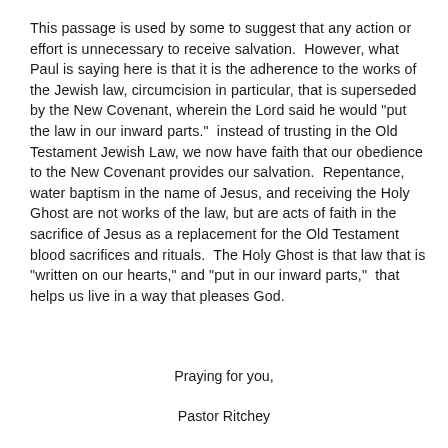This passage is used by some to suggest that any action or effort is unnecessary to receive salvation.  However, what Paul is saying here is that it is the adherence to the works of the Jewish law, circumcision in particular, that is superseded by the New Covenant, wherein the Lord said he would "put the law in our inward parts."  instead of trusting in the Old Testament Jewish Law, we now have faith that our obedience to the New Covenant provides our salvation.  Repentance, water baptism in the name of Jesus, and receiving the Holy Ghost are not works of the law, but are acts of faith in the sacrifice of Jesus as a replacement for the Old Testament blood sacrifices and rituals.  The Holy Ghost is that law that is "written on our hearts," and "put in our inward parts,"  that helps us live in a way that pleases God.
Praying for you,
Pastor Ritchey